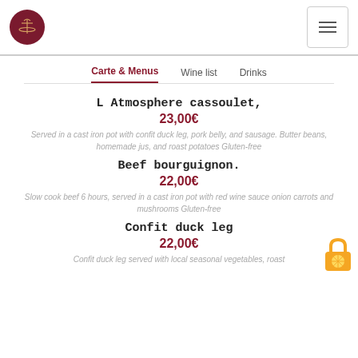Logo and hamburger menu
Carte & Menus | Wine list | Drinks
L Atmosphere cassoulet,
23,00€
Served in a cast iron pot with confit duck leg, pork belly, and sausage. Butter beans, homemade jus, and roast potatoes Gluten-free
Beef bourguignon.
22,00€
Slow cook beef 6 hours, served in a cast iron pot with red wine sauce onion carrots and mushrooms Gluten-free
Confit duck leg
22,00€
Confit duck leg served with local seasonal vegetables, roast